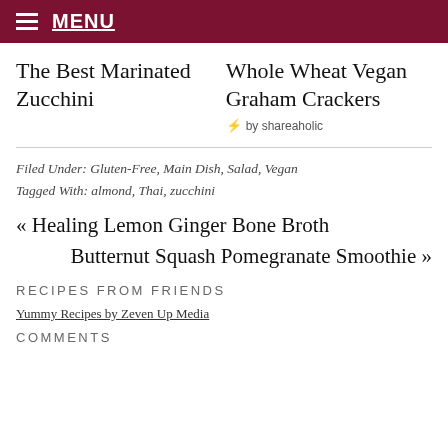≡ MENU
The Best Marinated Zucchini
Whole Wheat Vegan Graham Crackers
⚡ by shareaholic
Filed Under: Gluten-Free, Main Dish, Salad, Vegan
Tagged With: almond, Thai, zucchini
« Healing Lemon Ginger Bone Broth
Butternut Squash Pomegranate Smoothie »
RECIPES FROM FRIENDS
Yummy Recipes by Zeven Up Media
COMMENTS